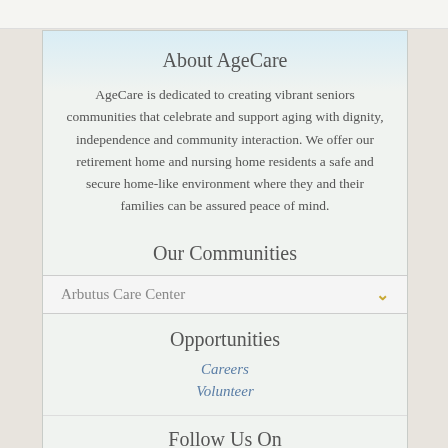About AgeCare
AgeCare is dedicated to creating vibrant seniors communities that celebrate and support aging with dignity, independence and community interaction. We offer our retirement home and nursing home residents a safe and secure home-like environment where they and their families can be assured peace of mind.
Our Communities
Arbutus Care Center
Opportunities
Careers
Volunteer
Follow Us On
[Figure (illustration): Social media icons: Facebook, Twitter, and a third icon (partially visible)]